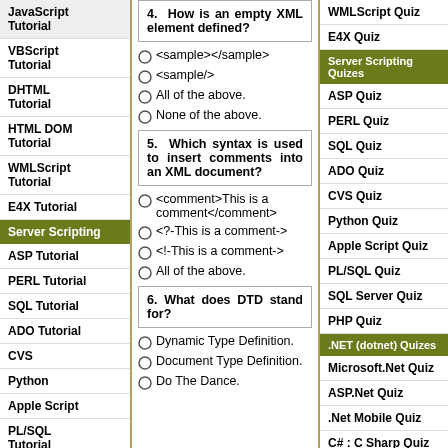JavaScript Tutorial
VBScript Tutorial
DHTML Tutorial
HTML DOM Tutorial
WMLScript Tutorial
E4X Tutorial
Server Scripting
ASP Tutorial
PERL Tutorial
SQL Tutorial
ADO Tutorial
CVS
Python
Apple Script
PL/SQL Tutorial
SQL Server
PHP
4. How is an empty XML element defined?
<sample></sample>
<sample/>
All of the above.
None of the above.
5. Which syntax is used to insert comments into an XML document?
<comment>This is a comment</comment>
<?-This is a comment->
<!-This is a comment->
All of the above.
6. What does DTD stand for?
Dynamic Type Definition.
Document Type Definition.
Do The Dance.
WMLScript Quiz
E4X Quiz
Server Scripting Quizes
ASP Quiz
PERL Quiz
SQL Quiz
ADO Quiz
CVS Quiz
Python Quiz
Apple Script Quiz
PL/SQL Quiz
SQL Server Quiz
PHP Quiz
.NET (dotnet) Quizes
Microsoft.Net Quiz
ASP.Net Quiz
.Net Mobile Quiz
C# : C Sharp Quiz
ADO.NET Quiz
VB.NET Quiz